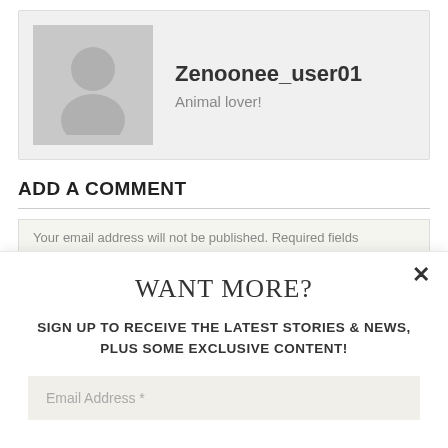[Figure (illustration): User profile card with grey avatar silhouette image, username Zenoonee_user01, and bio Animal lover!]
Zenoonee_user01
Animal lover!
ADD A COMMENT
Your email address will not be published. Required fields
WANT MORE?
SIGN UP TO RECEIVE THE LATEST STORIES & NEWS, PLUS SOME EXCLUSIVE CONTENT!
Email Address *